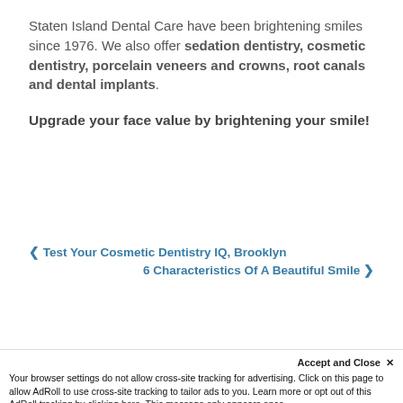Staten Island Dental Care have been brightening smiles since 1976. We also offer sedation dentistry, cosmetic dentistry, porcelain veneers and crowns, root canals and dental implants.
Upgrade your face value by brightening your smile!
‹ Test Your Cosmetic Dentistry IQ, Brooklyn
6 Characteristics Of A Beautiful Smile ›
[Figure (other): Teal contact us banner with grey strip below]
Accept and Close ✕
Your browser settings do not allow cross-site tracking for advertising. Click on this page to allow AdRoll to use cross-site tracking to tailor ads to you. Learn more or opt out of this AdRoll tracking by clicking here. This message only appears once.